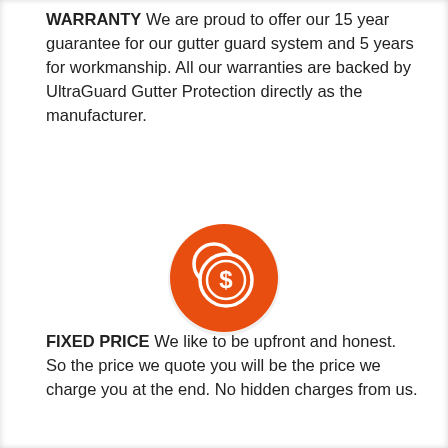WARRANTY We are proud to offer our 15 year guarantee for our gutter guard system and 5 years for workmanship. All our warranties are backed by UltraGuard Gutter Protection directly as the manufacturer.
[Figure (illustration): Orange circle icon with a white dollar sign coin/money bag symbol inside]
FIXED PRICE We like to be upfront and honest. So the price we quote you will be the price we charge you at the end. No hidden charges from us.